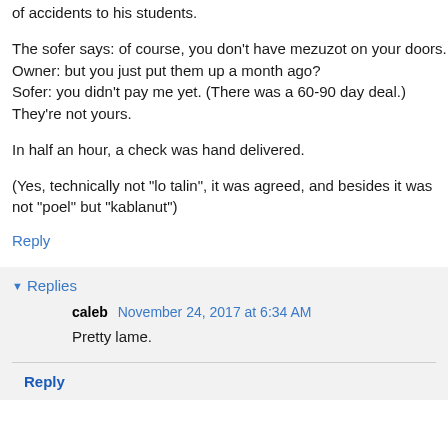of accidents to his students.
The sofer says: of course, you don't have mezuzot on your doors.
Owner: but you just put them up a month ago?
Sofer: you didn't pay me yet. (There was a 60-90 day deal.) They're not yours.
In half an hour, a check was hand delivered.
(Yes, technically not "lo talin", it was agreed, and besides it was not "poel" but "kablanut")
Reply
Replies
caleb  November 24, 2017 at 6:34 AM
Pretty lame.
Reply